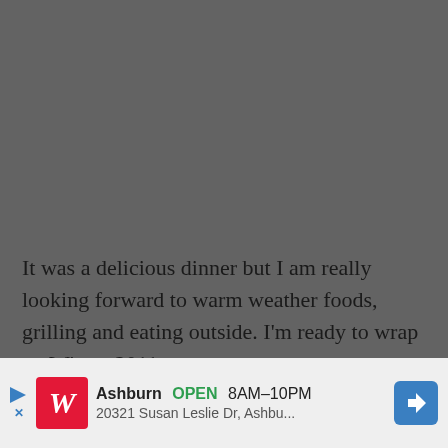[Figure (photo): Dark gray background area occupying the upper portion of the page, representing a photo or image placeholder.]
It was a delicious dinner but I am really looking forward to warm weather foods, grilling and eating outside. I'm ready to wrap up Winter 2011.
So...let's get to the fun part! I posted earlier that I participated Katie's online bake sale today to help her raise funds for a service trip to Nicaragua. The bake sale is over and we...
[Figure (screenshot): Walgreens advertisement banner at the bottom of the page showing location in Ashburn, OPEN 8AM-10PM, address 20321 Susan Leslie Dr, Ashbu...]